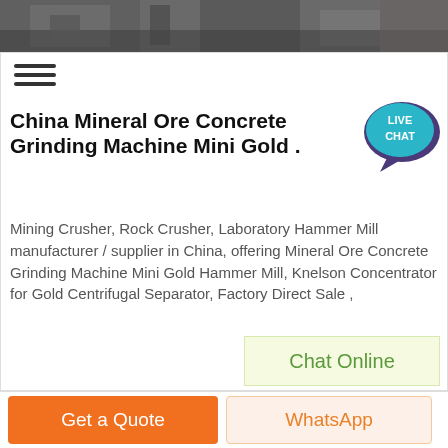[Figure (photo): Top portion showing industrial machinery/equipment in a factory setting]
China Mineral Ore Concrete Grinding Machine Mini Gold .
[Figure (illustration): Live Chat speech bubble icon in teal/dark blue]
Mining Crusher, Rock Crusher, Laboratory Hammer Mill manufacturer / supplier in China, offering Mineral Ore Concrete Grinding Machine Mini Gold Hammer Mill, Knelson Concentrator for Gold Centrifugal Separator, Factory Direct Sale ,
Chat Online
[Figure (photo): Interior of a large industrial warehouse/factory building showing roof structure]
Get a Quote
WhatsApp